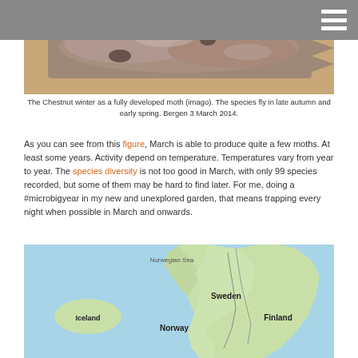[Figure (photo): Close-up photograph of a Chestnut moth (imago) resting, showing mottled brown and grey wing patterns.]
The Chestnut winter as a fully developed moth (imago). The species fly in late autumn and early spring. Bergen 3 March 2014.
As you can see from this figure, March is able to produce quite a few moths. At least some years. Activity depend on temperature. Temperatures vary from year to year. The species diversity is not too good in March, with only 99 species recorded, but some of them may be hard to find later. For me, doing a #microbigyear in my new and unexplored garden, that means trapping every night when possible in March and onwards.
[Figure (map): Google Maps style map showing Scandinavia and surrounding region including Iceland, Norway, Sweden, Finland, and the Norwegian Sea.]